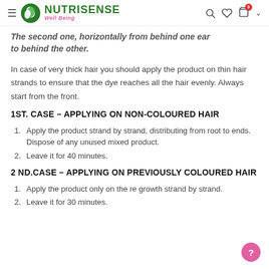NUTRISENSE Well Being
The second one, horizontally from behind one ear to behind the other.
In case of very thick hair you should apply the product on thin hair strands to ensure that the dye reaches all the hair evenly. Always start from the front.
1ST. CASE – APPLYING ON NON-COLOURED HAIR
Apply the product strand by strand, distributing from root to ends. Dispose of any unused mixed product.
Leave it for 40 minutes.
2 ND.CASE – APPLYING ON PREVIOUSLY COLOURED HAIR
Apply the product only on the regrowth strand by strand.
Leave it for 30 minutes.